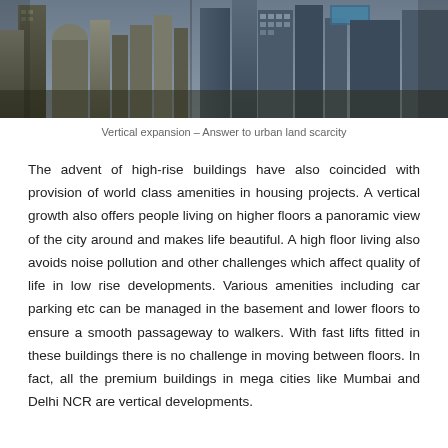[Figure (photo): Aerial view of a dense urban cityscape with high-rise buildings and skyscrapers, showing vertical urban development]
Vertical expansion – Answer to urban land scarcity
The advent of high-rise buildings have also coincided with provision of world class amenities in housing projects. A vertical growth also offers people living on higher floors a panoramic view of the city around and makes life beautiful. A high floor living also avoids noise pollution and other challenges which affect quality of life in low rise developments. Various amenities including car parking etc can be managed in the basement and lower floors to ensure a smooth passageway to walkers. With fast lifts fitted in these buildings there is no challenge in moving between floors. In fact, all the premium buildings in mega cities like Mumbai and Delhi NCR are vertical developments.